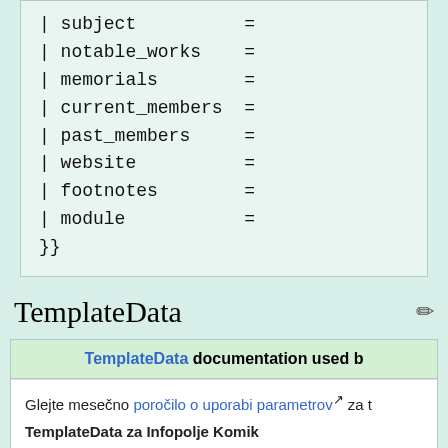| subject          =
| notable_works    =
| memorials        =
| current_members  =
| past_members     =
| website          =
| footnotes        =
| module           =
}}
TemplateData
TemplateData documentation used b
Glejte mesečno poročilo o uporabi parametrov za t
TemplateData za Infopolje Komik